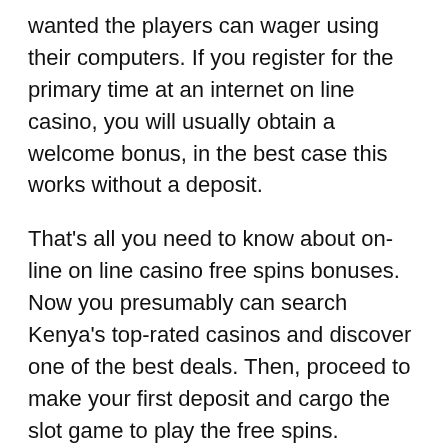wanted the players can wager using their computers. If you register for the primary time at an internet on line casino, you will usually obtain a welcome bonus, in the best case this works without a deposit.
That's all you need to know about on-line on line casino free spins bonuses. Now you presumably can search Kenya's top-rated casinos and discover one of the best deals. Then, proceed to make your first deposit and cargo the slot game to play the free spins.
The company offered free spins to select slots once the participant had played all the opposite games. To win these free spins, gamers won't must enter credit information or spend any money. The players